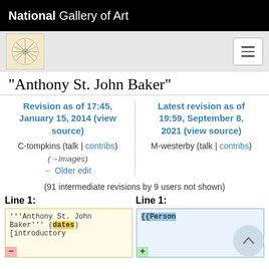National Gallery of Art
"Anthony St. John Baker"
| Revision as of 17:45, January 15, 2014 (view source) | Latest revision as of 19:59, September 8, 2021 (view source) |
| --- | --- |
| C-tompkins (talk | contribs)
(→Images)
← Older edit | M-westerby (talk | contribs) |
(91 intermediate revisions by 9 users not shown)
Line 1:
Line 1:
'''Anthony St. John Baker''' (dates)
[introductory
{{Person